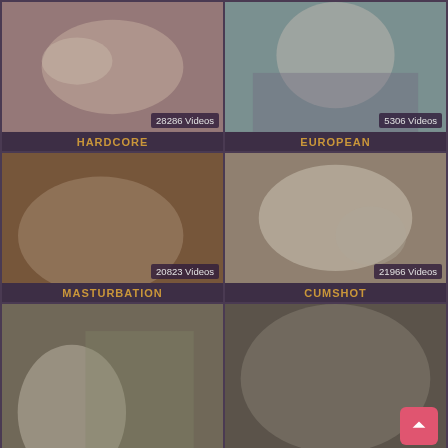[Figure (screenshot): Thumbnail grid of adult video categories. Row 1: HARDCORE (28286 Videos), EUROPEAN (5306 Videos). Row 2: MASTURBATION (20823 Videos), CUMSHOT (21966 Videos). Row 3: Two more category thumbnails, partially visible. Back-to-top button in bottom right.]
HARDCORE
28286 Videos
EUROPEAN
5306 Videos
MASTURBATION
20823 Videos
CUMSHOT
21966 Videos